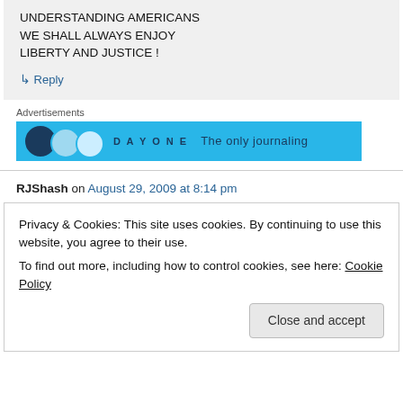UNDERSTANDING AMERICANS WE SHALL ALWAYS ENJOY LIBERTY AND JUSTICE !
↳ Reply
Advertisements
[Figure (other): Day One journaling app advertisement banner with blue background, circles and text 'The only journaling']
RJShash on August 29, 2009 at 8:14 pm
Privacy & Cookies: This site uses cookies. By continuing to use this website, you agree to their use.
To find out more, including how to control cookies, see here: Cookie Policy
Close and accept